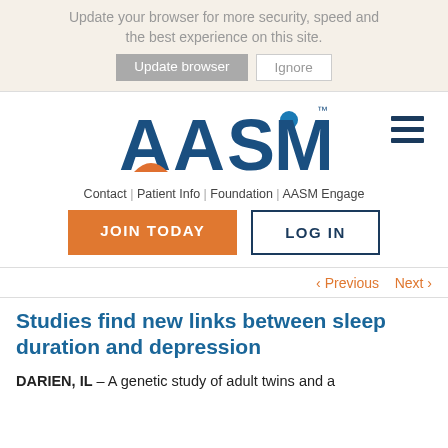Update your browser for more security, speed and the best experience on this site. Update browser   Ignore
[Figure (logo): AASM logo — bold blue letters with orange sunrise arc under the 'A', and a blue circle for the dot of the 'i'. Superscript TM mark after 'M'.]
Contact | Patient Info | Foundation | AASM Engage
JOIN TODAY   LOG IN
< Previous   Next >
Studies find new links between sleep duration and depression
DARIEN, IL – A genetic study of adult twins and a